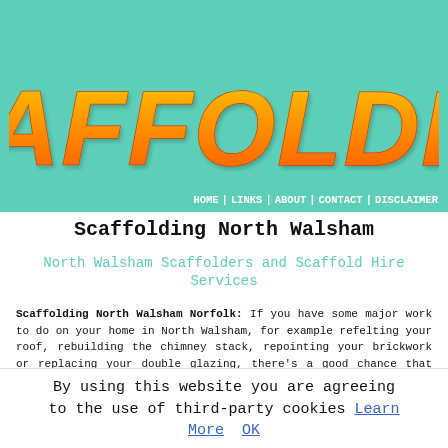[Figure (logo): SCAFFOLDING logo in large orange italic graffiti-style text on a teal/mint green background]
HOME | LINKS | ABOUT | CONTACT | DISCLAIMER
Scaffolding North Walsham
North Walsham Scaffolders and Scaffold Hire Services
Scaffolding North Walsham Norfolk: If you have some major work to do on your home in North Walsham, for example refelting your roof, rebuilding the chimney stack, repointing your brickwork or replacing your double glazing, there's a good chance that you're going to need to have some scaffolding erected, to make the area safe and secure for both yourself and the contractors who are carrying out the job. To obtain a quotation and to get the scaffolding set up in a safe way you'll have to locate a reliable North
By using this website you are agreeing to the use of third-party cookies Learn More  OK